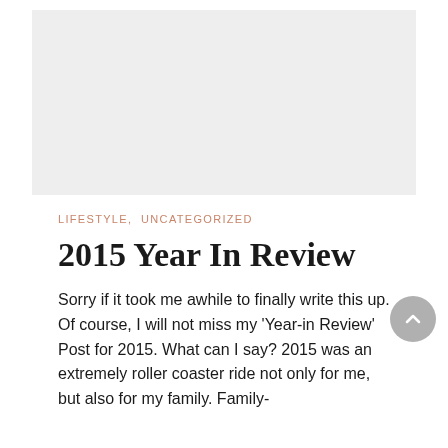[Figure (photo): Light gray placeholder image area at top of blog post page]
LIFESTYLE,  UNCATEGORIZED
2015 Year In Review
Sorry if it took me awhile to finally write this up. Of course, I will not miss my 'Year-in Review' Post for 2015. What can I say? 2015 was an extremely roller coaster ride not only for me, but also for my family. Family-